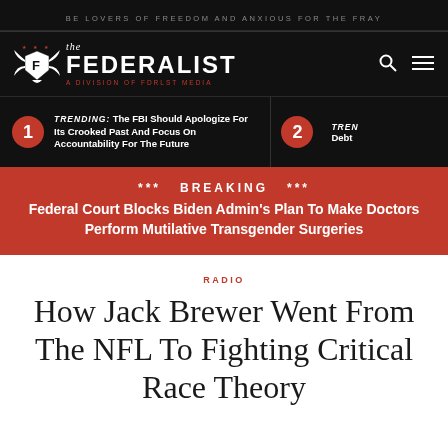BE LOVERS OF FREEDOM AND ANXIOUS FOR THE FRAY
[Figure (logo): The Federalist logo with eagle emblem, 'the FEDERALIST A DIVISION OF FDRLST MEDIA']
TRENDING: The FBI Should Apologize For Its Crooked Past And Focus On Accountability For The Future
2 TRENDING: Debt
*** BREAKING *** Federal Court Blocks Biden Admin's Plan To Make Doctors Perform Mutilative Transgender Surgeries
RADIO
How Jack Brewer Went From The NFL To Fighting Critical Race Theory